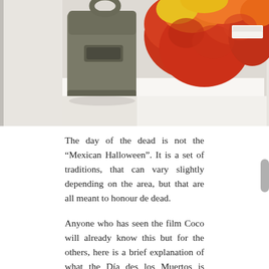[Figure (photo): Photo showing a grey messenger bag on the left and colorful red, orange, and yellow flower decorations on the right, set on a white surface. A small green patch is visible at the bottom left.]
The day of the dead is not the “Mexican Halloween”. It is a set of traditions, that can vary slightly depending on the area, but that are all meant to honour de dead.
Anyone who has seen the film Coco will already know this but for the others, here is a brief explanation of what the Día des los Muertos is about: During these days, locals believe that the gap between our world and the spiritual world opens, and they invite their loved ones back for a celebration.  This is done with ofrendas, or offerings, placed on altars in homes, schools, and cemeteries.
Altars are decorated with pictures of the deceased,